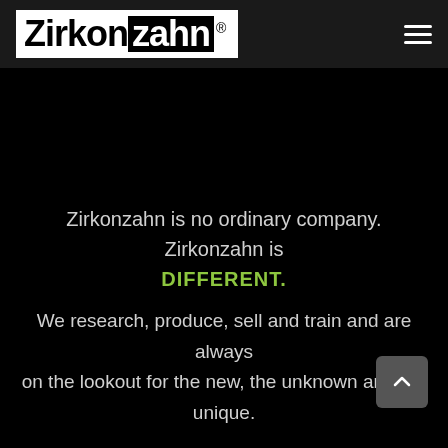[Figure (logo): Zirkonzahn logo: white background box with black text 'Zirkon' and black box with white text 'zahn', registered trademark symbol]
Zirkonzahn is no ordinary company. Zirkonzahn is DIFFERENT.
We research, produce, sell and train and are always on the lookout for the new, the unknown and the unique.